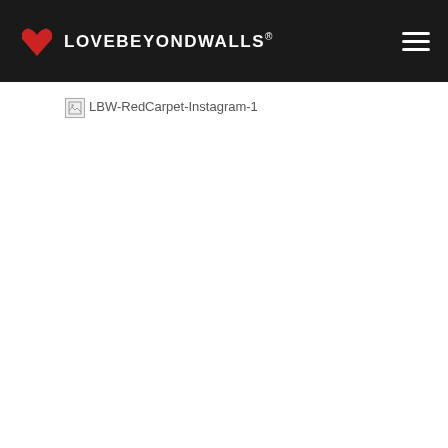LOVEBEYONDWALLS®
[Figure (other): Broken image placeholder with alt text LBW-RedCarpet-Instagram-1]